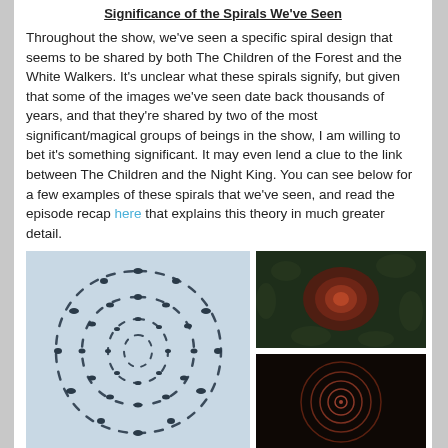Significance of the Spirals We've Seen
Throughout the show, we've seen a specific spiral design that seems to be shared by both The Children of the Forest and the White Walkers. It's unclear what these spirals signify, but given that some of the images we've seen date back thousands of years, and that they're shared by two of the most significant/magical groups of beings in the show, I am willing to bet it's something significant. It may even lend a clue to the link between The Children and the Night King. You can see below for a few examples of these spirals that we've seen, and read the episode recap here that explains this theory in much greater detail.
[Figure (photo): Large image showing a spiral pattern drawn with dark marks on a light blue-gray background, resembling a stone carving or ground pattern arranged in a spiral shape]
[Figure (photo): Dark image with a reddish-brown organic spiral or circular arrangement visible against a dark green background]
[Figure (photo): Very dark image showing concentric circular spiral lines in a dark reddish-brown color against a nearly black background]